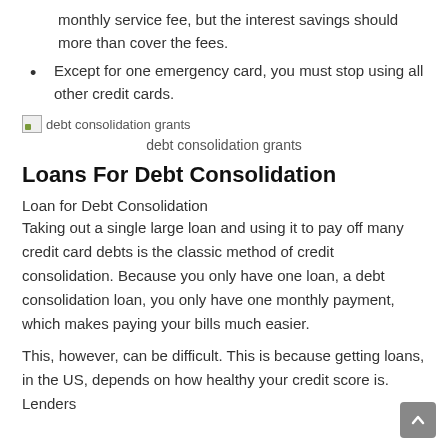monthly service fee, but the interest savings should more than cover the fees.
Except for one emergency card, you must stop using all other credit cards.
[Figure (illustration): Broken image placeholder for debt consolidation grants]
debt consolidation grants
Loans For Debt Consolidation
Loan for Debt Consolidation
Taking out a single large loan and using it to pay off many credit card debts is the classic method of credit consolidation. Because you only have one loan, a debt consolidation loan, you only have one monthly payment, which makes paying your bills much easier.
This, however, can be difficult. This is because getting loans, in the US, depends on how healthy your credit score is. Lenders